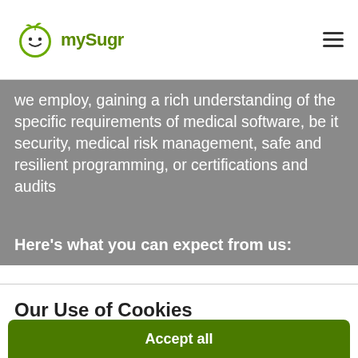mySugr
we employ, gaining a rich understanding of the specific requirements of medical software, be it security, medical risk management, safe and resilient programming, or certifications and audits
Here’s what you can expect from us:
Our Use of Cookies
This website may use certain types of cookies and other technologies to personalize content and to show more personalized ads. By clicking “Accept”, you understand that you are directing Roche to disclose data that may be considered personal information to third parties for these purposes. For more details on what information we collect, why we collect it, and to whom we disclose it, please visit our Privacy Policy.
Cookie Preferences
Accept all